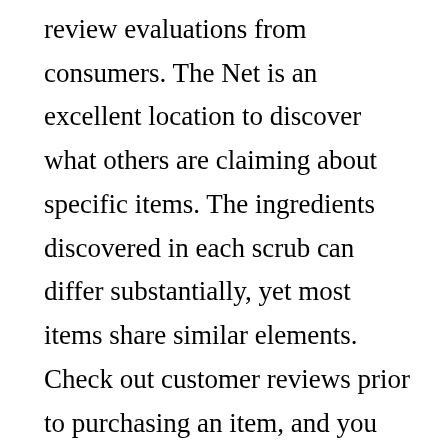review evaluations from consumers. The Net is an excellent location to discover what others are claiming about specific items. The ingredients discovered in each scrub can differ substantially, yet most items share similar elements. Check out customer reviews prior to purchasing an item, and you can be confident that you're obtaining a high quality product. When acquiring body scrubs, look for active ingredients that are free of damaging chemicals, such as parabens. Many consumers are now picking plant-based